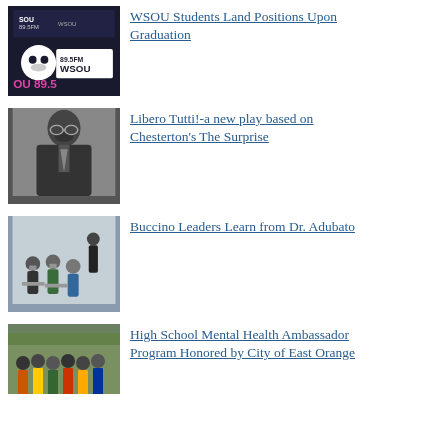[Figure (photo): WSOU 89.5 FM radio station logo with skull graphic]
WSOU Students Land Positions Upon Graduation
[Figure (photo): Black and white photo of older man with mustache and glasses, resembling G.K. Chesterton]
Libero Tutti!-a new play based on Chesterton's The Surprise
[Figure (photo): Group of students and instructor wearing masks, seated in classroom]
Buccino Leaders Learn from Dr. Adubato
[Figure (photo): Group photo of students and adults indoors]
High School Mental Health Ambassador Program Honored by City of East Orange